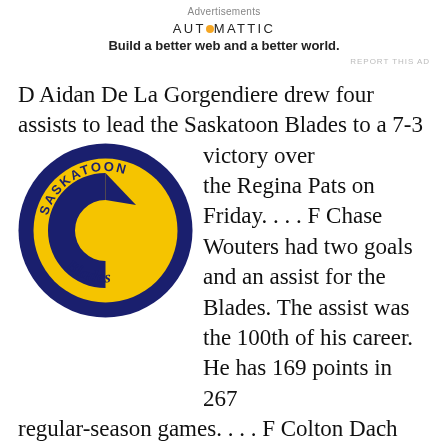Advertisements
[Figure (logo): Automattic logo and tagline: Build a better web and a better world.]
REPORT THIS AD
[Figure (logo): Saskatoon Blades circular logo — navy blue ring with yellow background, featuring a blue C-shaped blade graphic and 'SASKATOON' text at top, 'Blades' script at bottom.]
D Aidan De La Gorgendiere drew four assists to lead the Saskatoon Blades to a 7-3 victory over the Regina Pats on Friday. . . . F Chase Wouters had two goals and an assist for the Blades. The assist was the 100th of his career. He has 169 points in 267 regular-season games. . . . F Colton Dach also scored twice for Saskatoon. . . . The Blades (7-0-1) scored the game's first three goals and never looked back. . . . Despite playing in their